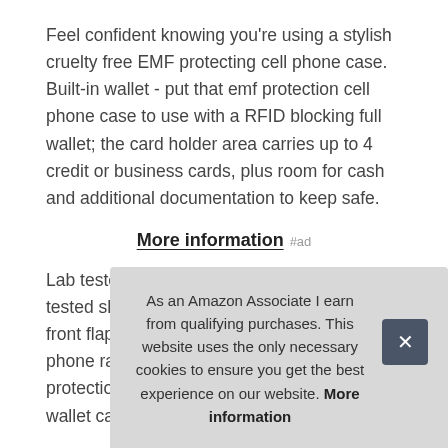Feel confident knowing you're using a stylish cruelty free EMF protecting cell phone case. Built-in wallet - put that emf protection cell phone case to use with a RFID blocking full wallet; the card holder area carries up to 4 credit or business cards, plus room for cash and additional documentation to keep safe.
More information #ad
Lab tested protection - fcc accredited lab tested shielding technology embedded in front flap blocks up to 99 percent of EMF cell phone radiation; The SafeSleeve EMF protection cell phone case for iPhone XR wallet case keeps you and your info
Veg this look while remaining free of animal products; the perfect
As an Amazon Associate I earn from qualifying purchases. This website uses the only necessary cookies to ensure you get the best experience on our website. More information